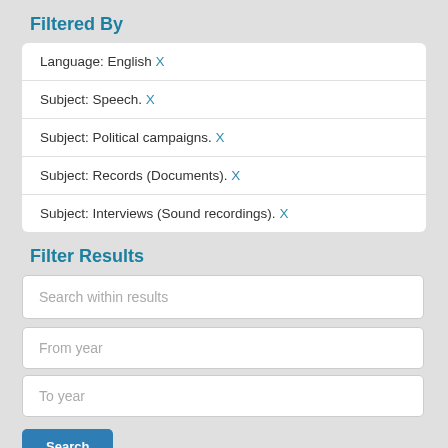Filtered By
Language: English X
Subject: Speech. X
Subject: Political campaigns. X
Subject: Records (Documents). X
Subject: Interviews (Sound recordings). X
Filter Results
Search within results
From year
To year
Search